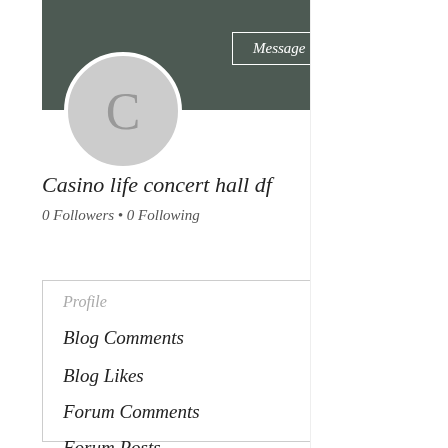[Figure (screenshot): Social media profile page screenshot showing a user profile with avatar, name, followers, and navigation menu on the left, and a post/content preview on the right with blurred image]
C
Message
Follow
Casino life concert hall df
0 Followers • 0 Following
Profile
Blog Comments
Blog Likes
Forum Comments
Forum Posts
Casino life c
Casino life concert h